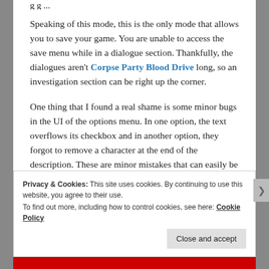Speaking of this mode, this is the only mode that allows you to save your game. You are unable to access the save menu while in a dialogue section. Thankfully, the dialogues aren't Corpse Party Blood Drive long, so an investigation section can be right up the corner.

One thing that I found a real shame is some minor bugs in the UI of the options menu. In one option, the text overflows its checkbox and in another option, they forgot to remove a character at the end of the description. These are minor mistakes that can easily be patched out.
Privacy & Cookies: This site uses cookies. By continuing to use this website, you agree to their use.
To find out more, including how to control cookies, see here: Cookie Policy
Close and accept